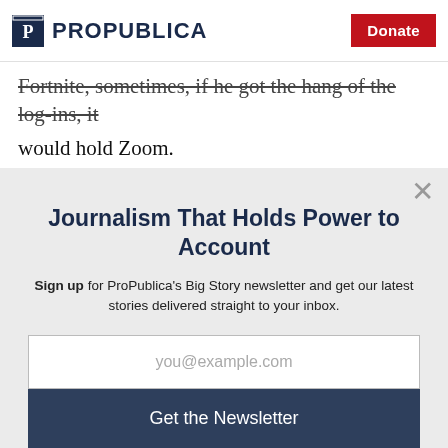ProPublica | Donate
Fortnite, sometimes, if he got the hang of the log-ins, it would hold Zoom.
Journalism That Holds Power to Account
Sign up for ProPublica's Big Story newsletter and get our latest stories delivered straight to your inbox.
you@example.com
Get the Newsletter
No thanks, I'm all set
This site is protected by reCAPTCHA and the Google Privacy Policy and Terms of Service apply.